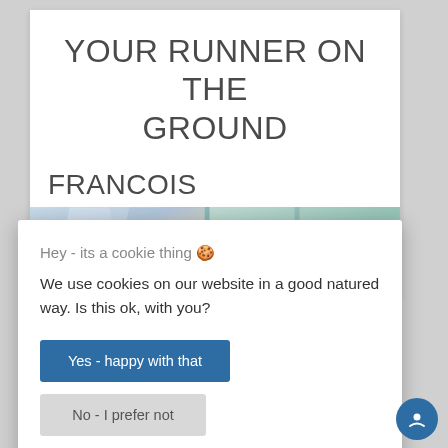YOUR RUNNER ON THE GROUND
FRANCOIS
[Figure (photo): Horizontal photo strip showing abstract/colorful images, appears to be technology or art related]
Hey - its a cookie thing 🍪
We use cookies on our website in a good natured way. Is this ok, with you?
Yes - happy with that
No - I prefer not